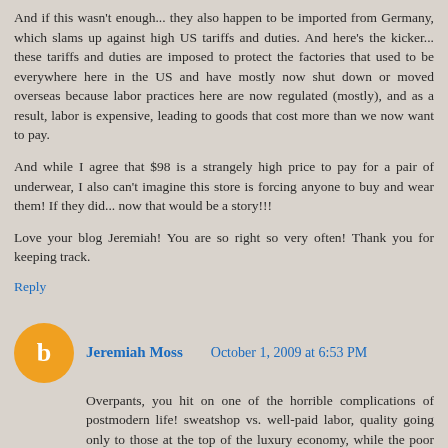And if this wasn't enough... they also happen to be imported from Germany, which slams up against high US tariffs and duties. And here's the kicker... these tariffs and duties are imposed to protect the factories that used to be everywhere here in the US and have mostly now shut down or moved overseas because labor practices here are now regulated (mostly), and as a result, labor is expensive, leading to goods that cost more than we now want to pay.
And while I agree that $98 is a strangely high price to pay for a pair of underwear, I also can't imagine this store is forcing anyone to buy and wear them! If they did... now that would be a story!!!
Love your blog Jeremiah! You are so right so very often! Thank you for keeping track.
Reply
Jeremiah Moss   October 1, 2009 at 6:53 PM
Overpants, you hit on one of the horrible complications of postmodern life! sweatshop vs. well-paid labor, quality going only to those at the top of the luxury economy, while the poor consume the sweat of the poor. it's dizzying, isn't it?
all i know is this: i felt with my own hands the $98 underpants, expecting manna from heaven, and they felt like cotton.